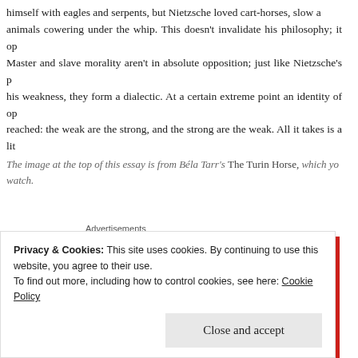himself with eagles and serpents, but Nietzsche loved cart-horses, slow animals cowering under the whip. This doesn't invalidate his philosophy; it op Master and slave morality aren't in absolute opposition; just like Nietzsche's his weakness, they form a dialectic. At a certain extreme point an identity of op reached: the weak are the strong, and the strong are the weak. All it takes is a li
The image at the top of this essay is from Béla Tarr's The Turin Horse, which yo watch.
Advertisements
[Figure (screenshot): Red advertisement banner reading 'An app by listeners, for listeners.' with a smartphone showing a podcast app]
Privacy & Cookies: This site uses cookies. By continuing to use this website, you agree to their use.
To find out more, including how to control cookies, see here: Cookie Policy
Close and accept